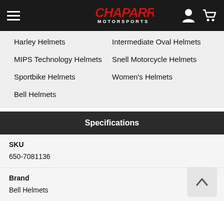Chaparral Motorsports
Harley Helmets
Intermediate Oval Helmets
MIPS Technology Helmets
Snell Motorcycle Helmets
Sportbike Helmets
Women's Helmets
Bell Helmets
Specifications
| SKU | Brand |
| --- | --- |
| 650-7081136 | Bell Helmets |